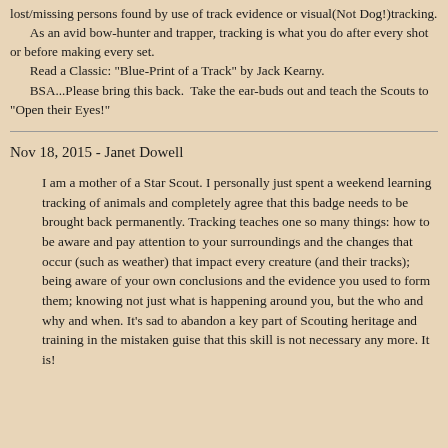lost/missing persons found by use of track evidence or visual(Not Dog!)tracking.
    As an avid bow-hunter and trapper, tracking is what you do after every shot or before making every set.
    Read a Classic: "Blue-Print of a Track" by Jack Kearny.
    BSA...Please bring this back.  Take the ear-buds out and teach the Scouts to "Open their Eyes!"
Nov 18, 2015 - Janet Dowell
I am a mother of a Star Scout. I personally just spent a weekend learning tracking of animals and completely agree that this badge needs to be brought back permanently. Tracking teaches one so many things: how to be aware and pay attention to your surroundings and the changes that occur (such as weather) that impact every creature (and their tracks); being aware of your own conclusions and the evidence you used to form them; knowing not just what is happening around you, but the who and why and when. It's sad to abandon a key part of Scouting heritage and training in the mistaken guise that this skill is not necessary any more. It is!